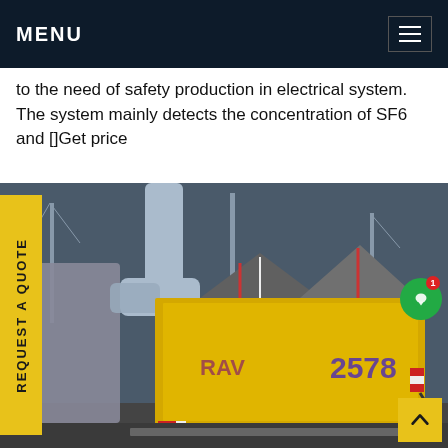MENU
to the need of safety production in electrical system. The system mainly detects the concentration of SF6 and []Get price
[Figure (photo): Industrial electrical substation scene with large yellow service/maintenance truck (license plate V257B, number 2578 on container) parked next to high-voltage transformer equipment with large gray pipes/ducts. Sunset sky visible in background.]
REQUEST A QUOTE
1
^